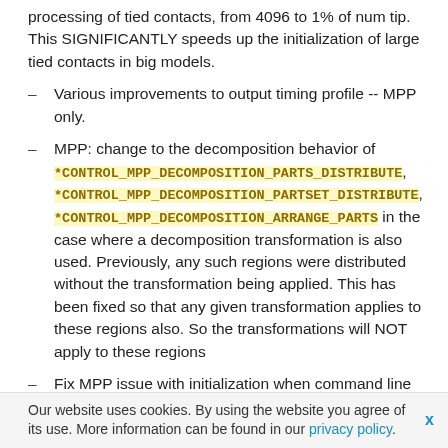processing of tied contacts, from 4096 to 1% of num tip. This SIGNIFICANTLY speeds up the initialization of large tied contacts in big models.
Various improvements to output timing profile -- MPP only.
MPP: change to the decomposition behavior of *CONTROL_MPP_DECOMPOSITION_PARTS_DISTRIBUTE, *CONTROL_MPP_DECOMPOSITION_PARTSET_DISTRIBUTE, *CONTROL_MPP_DECOMPOSITION_ARRANGE_PARTS in the case where a decomposition transformation is also used. Previously, any such regions were distributed without the transformation being applied. This has been fixed so that any given transformation applies to these regions also. So the transformations will NOT apply to these regions
Fix MPP issue with initialization when command line arguments are > 256 characters long.
Fix for MPP not handling element deletion properly in some cases at decomposition boundaries.
Our website uses cookies. By using the website you agree of its use. More information can be found in our privacy policy.